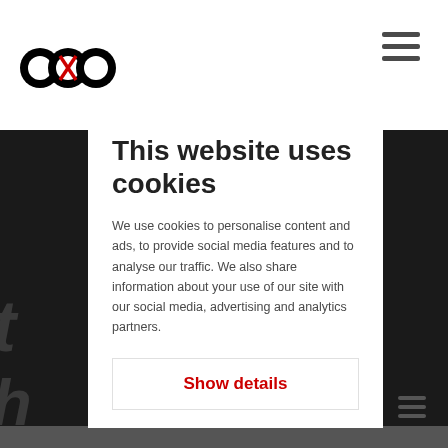[Figure (logo): EOS company logo - circular black logo with red cross-hatched pattern]
This website uses cookies
We use cookies to personalise content and ads, to provide social media features and to analyse our traffic. We also share information about your use of our site with our social media, advertising and analytics partners.
Show details